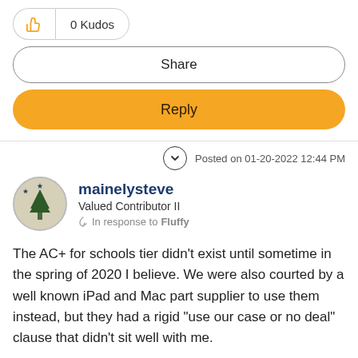0 Kudos
Share
Reply
Posted on 01-20-2022 12:44 PM
mainelysteve
Valued Contributor II
In response to Fluffy
The AC+ for schools tier didn't exist until sometime in the spring of 2020 I believe. We were also courted by a well known iPad and Mac part supplier to use them instead, but they had a rigid "use our case or no deal" clause that didn't sit well with me.